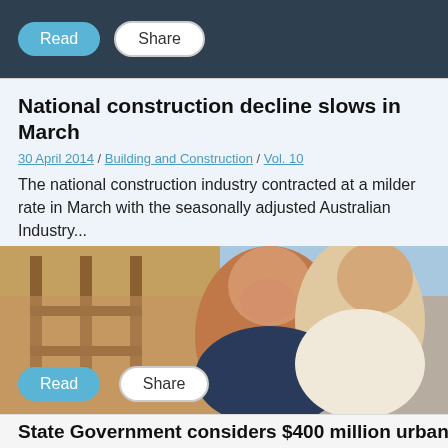Read | Share
National construction decline slows in March
30 April 2014 / Building and Construction / Vol. 10
The national construction industry contracted at a milder rate in March with the seasonally adjusted Australian Industry...
[Figure (photo): A smiling couple in front of a construction site frame, woman hugging man from behind, both wearing light-colored clothing]
Read | Share
State Government considers $400 million urban